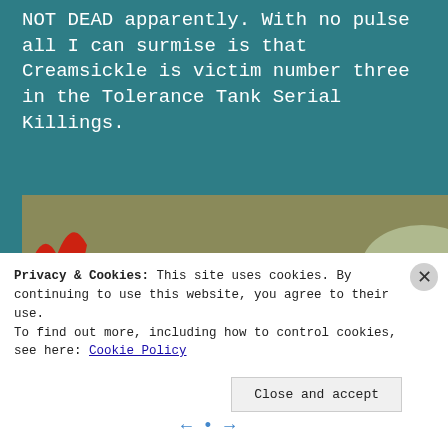NOT DEAD apparently. With no pulse all I can surmise is that Creamsickle is victim number three in the Tolerance Tank Serial Killings.
[Figure (photo): Fish tank interior with a stone pagoda decoration in the foreground, red coral ornament on the left, green algae-covered decorations in the background, and a glass container visible in the upper right. The tank has a mosaic tile-patterned back wall.]
Privacy & Cookies: This site uses cookies. By continuing to use this website, you agree to their use.
To find out more, including how to control cookies, see here: Cookie Policy
Close and accept